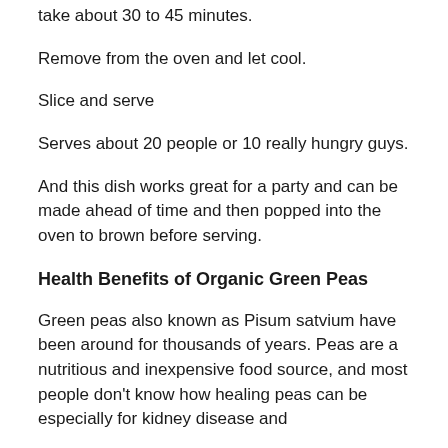take about 30 to 45 minutes.
Remove from the oven and let cool.
Slice and serve
Serves about 20 people or 10 really hungry guys.
And this dish works great for a party and can be made ahead of time and then popped into the oven to brown before serving.
Health Benefits of Organic Green Peas
Green peas also known as Pisum satvium have been around for thousands of years. Peas are a nutritious and inexpensive food source, and most people don't know how healing peas can be especially for kidney disease and